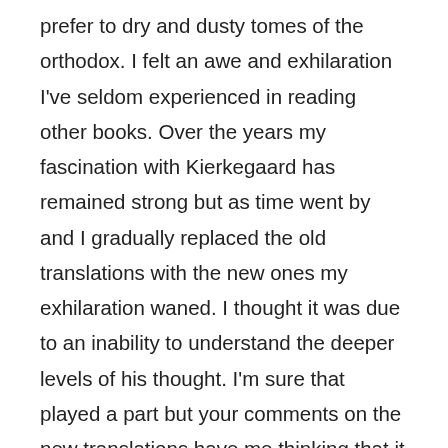prefer to dry and dusty tomes of the orthodox. I felt an awe and exhilaration I've seldom experienced in reading other books. Over the years my fascination with Kierkegaard has remained strong but as time went by and I gradually replaced the old translations with the new ones my exhilaration waned. I thought it was due to an inability to understand the deeper levels of his thought. I'm sure that played a part but your comments on the new translations have me thinking that it may be more than that. Perhaps its time to seek out those old books and see if the magic returns. Thank you for that suggestion.
On another matter, it was just a few years ago that Graff's new and exciting biography found its way